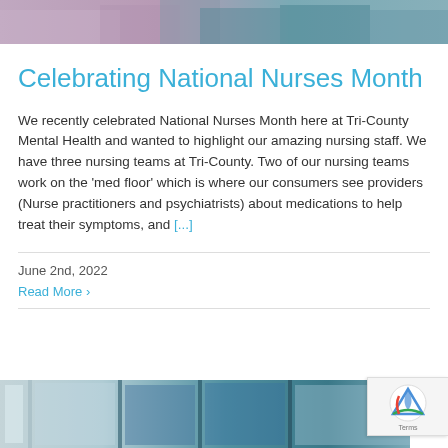[Figure (photo): Top portion of a group photo showing people, partially cropped at the top of the page]
Celebrating National Nurses Month
We recently celebrated National Nurses Month here at Tri-County Mental Health and wanted to highlight our amazing nursing staff. We have three nursing teams at Tri-County. Two of our nursing teams work on the 'med floor' which is where our consumers see providers (Nurse practitioners and psychiatrists) about medications to help treat their symptoms, and [...]
June 2nd, 2022
Read More ›
[Figure (photo): Bottom portion of a building exterior photo showing blue doors and windows, partially cropped]